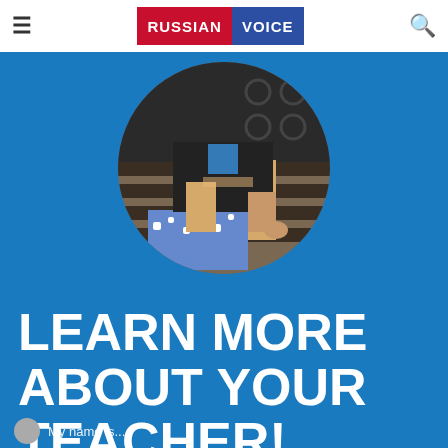RUSSIAN VOICE
[Figure (photo): Circular cropped photo of a person sitting on a metal bench outdoors, wearing a dark top and blue/white patterned skirt, holding something in their hands]
LEARN MORE ABOUT YOUR TEACHER!
My name is...